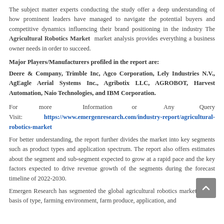The subject matter experts conducting the study offer a deep understanding of how prominent leaders have managed to navigate the potential buyers and competitive dynamics influencing their brand positioning in the industry The Agricultural Robotics Market market analysis provides everything a business owner needs in order to succeed.
Major Players/Manufacturers profiled in the report are:
Deere & Company, Trimble Inc, Agco Corporation, Lely Industries N.V., AgEagle Aerial Systems Inc., Agribotix LLC, AGROBOT, Harvest Automation, Naio Technologies, and IBM Corporation.
For more Information or Any Query Visit: https://www.emergenresearch.com/industry-report/agricultural-robotics-market
For better understanding, the report further divides the market into key segments such as product types and application spectrum. The report also offers estimates about the segment and sub-segment expected to grow at a rapid pace and the key factors expected to drive revenue growth of the segments during the forecast timeline of 2022-2030.
Emergen Research has segmented the global agricultural robotics market on the basis of type, farming environment, farm produce, application, and